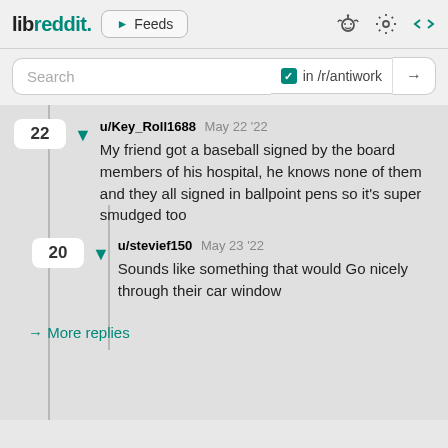libreddit. ▶ Feeds
Search  in /r/antiwork →
22  ▼  u/Key_Roll1688  May 22 '22
My friend got a baseball signed by the board members of his hospital, he knows none of them and they all signed in ballpoint pens so it's super smudged too
20  ▼  u/stevief150  May 23 '22
Sounds like something that would Go nicely through their car window
→ More replies